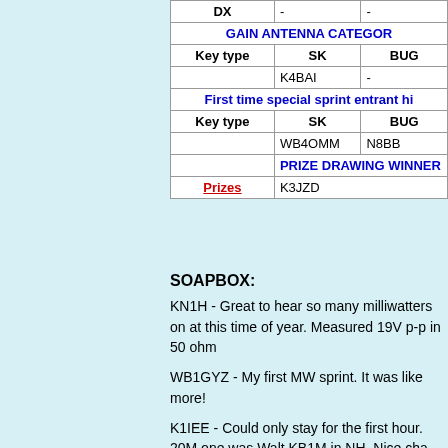|  | SK | BUG |
| --- | --- | --- |
| DX | - | - |
| GAIN ANTENNA CATEGORY |  |  |
| Key type | SK | BUG |
|  | K4BAI | - |
| First time special sprint entrant hi |  |  |
| Key type | SK | BUG |
|  | WB4OMM | N8BB |
|  | PRIZE DRAWING WINNER |  |
| Prizes | K3JZD |  |
SOAPBOX:
KN1H - Great to hear so many milliwatters on at this time of year. Measured 19V p-p in 50 ohm
WB1GYZ - My first MW sprint. It was like ... more!
K1IEE - Could only stay for the first hour. 20M one was Walt KB1M in NH. Nice cha
KB1M - K1 @ 900mw MY first attempt at for this beginner. best dx was KA5OOA in